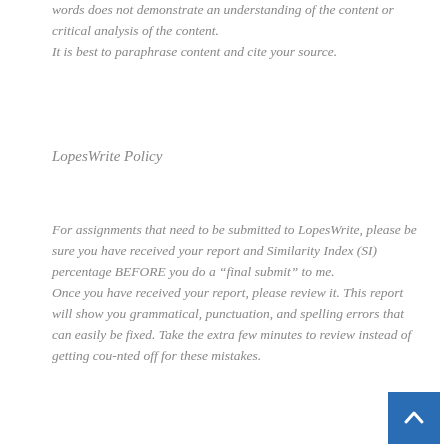words does not demonstrate an understanding of the content or critical analysis of the content.
It is best to paraphrase content and cite your source.
LopesWrite Policy
For assignments that need to be submitted to LopesWrite, please be sure you have received your report and Similarity Index (SI) percentage BEFORE you do a “final submit” to me.
Once you have received your report, please review it. This report will show you grammatical, punctuation, and spelling errors that can easily be fixed. Take the extra few minutes to review instead of getting counted off for these mistakes.